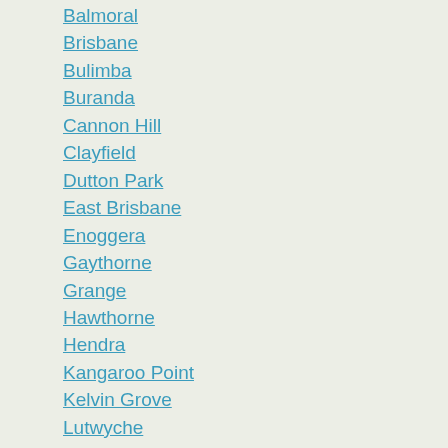Balmoral
Brisbane
Bulimba
Buranda
Cannon Hill
Clayfield
Dutton Park
East Brisbane
Enoggera
Gaythorne
Grange
Hawthorne
Hendra
Kangaroo Point
Kelvin Grove
Lutwyche
Milton
Morningside
Murarrie
New Farm
Newmarket
Norman Park
Paddington
Red Hill